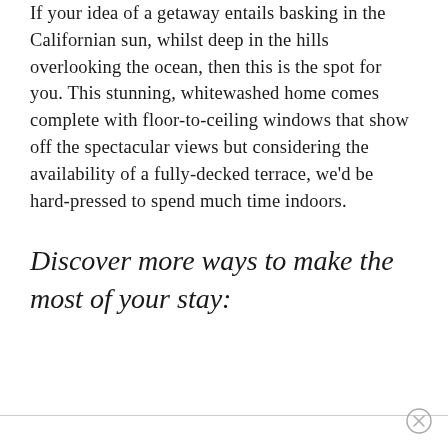If your idea of a getaway entails basking in the Californian sun, whilst deep in the hills overlooking the ocean, then this is the spot for you. This stunning, whitewashed home comes complete with floor-to-ceiling windows that show off the spectacular views but considering the availability of a fully-decked terrace, we'd be hard-pressed to spend much time indoors.
Discover more ways to make the most of your stay: